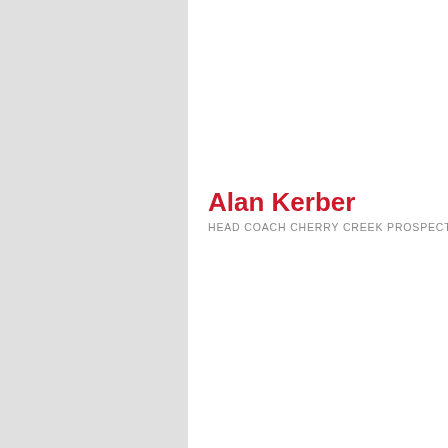Alan Kerber
HEAD COACH CHERRY CREEK PROSPECTS